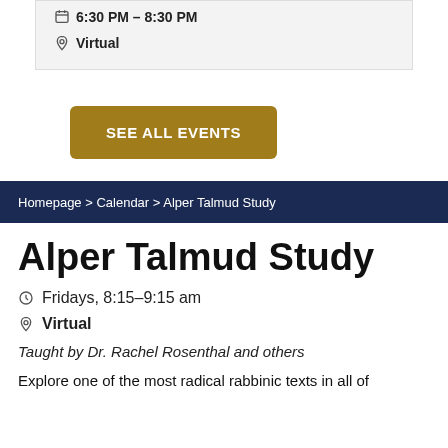6:30 PM – 8:30 PM
Virtual
SEE ALL EVENTS
Homepage > Calendar > Alper Talmud Study
Alper Talmud Study
Fridays, 8:15–9:15 am
Virtual
Taught by Dr. Rachel Rosenthal and others
Explore one of the most radical rabbinic texts in all of